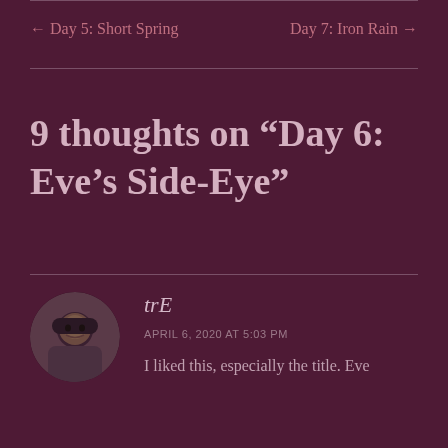← Day 5: Short Spring    Day 7: Iron Rain →
9 thoughts on “Day 6: Eve’s Side-Eye”
trE
APRIL 6, 2020 AT 5:03 PM
I liked this, especially the title. Eve